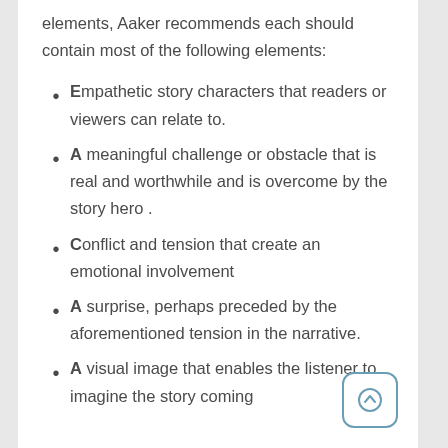elements, Aaker recommends each should contain most of the following elements:
Empathetic story characters that readers or viewers can relate to.
A meaningful challenge or obstacle that is real and worthwhile and is overcome by the story hero .
Conflict and tension that create an emotional involvement
A surprise, perhaps preceded by the aforementioned tension in the narrative.
A visual image that enables the listener to imagine the story coming